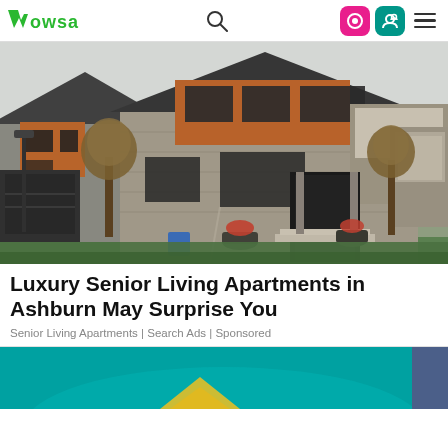Wowsa — navigation bar with logo, search, and icons
[Figure (photo): Exterior photo of modern two-storey residential homes with stone and orange wood cladding, dark windows, autumn trees, and green lawn in the foreground]
Luxury Senior Living Apartments in Ashburn May Surprise You
Senior Living Apartments | Search Ads | Sponsored
[Figure (photo): Partial view of a second article image with teal/aqua background, partially obscured by a dark purple overlay box in the bottom-right corner]